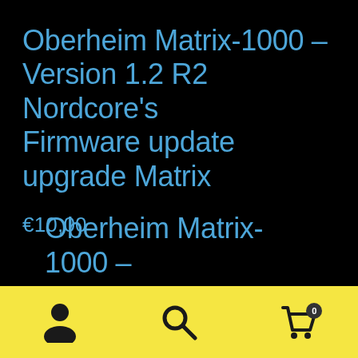Oberheim Matrix-1000 – Version 1.2 R2 Nordcore’s Firmware update upgrade Matrix
€10,00
Oberheim Matrix-1000 –
[Figure (infographic): Yellow bottom navigation bar with three icons: a person/user icon on the left, a search magnifying glass icon in the center, and a shopping cart icon on the right with a badge showing '0'.]